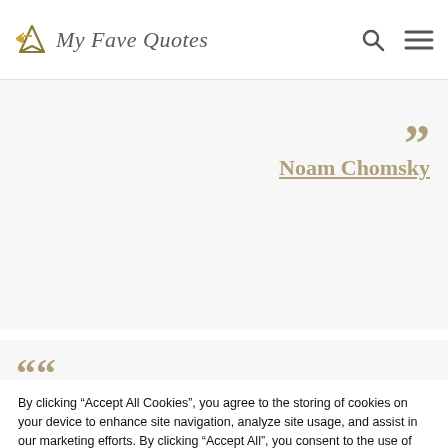My Fave Quotes
”
Noam Chomsky
““
Mankind is divided into rich and poor, into property owners and exploited; and to abstract oneself from this fundamental division; and from
By clicking “Accept All Cookies”, you agree to the storing of cookies on your device to enhance site navigation, analyze site usage, and assist in our marketing efforts. By clicking “Accept All”, you consent to the use of ALL the cookies. However, you may visit "Cookie Settings" to provide a controlled consent.
Cookie Settings
Accept All